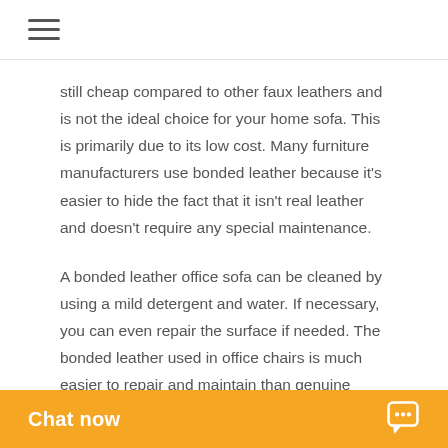≡
still cheap compared to other faux leathers and is not the ideal choice for your home sofa. This is primarily due to its low cost. Many furniture manufacturers use bonded leather because it's easier to hide the fact that it isn't real leather and doesn't require any special maintenance.
A bonded leather office sofa can be cleaned by using a mild detergent and water. If necessary, you can even repair the surface if needed. The bonded leather used in office chairs is much easier to repair and maintain than genuine leather. You can even get one of these for free with the help of a discount from an autonomous furniture store. You'll be able to enjoy a discount on a bonded leather office sofa in South Africa.
If you're looking for a sofa for your office, you may be wondering about bond... Although bonded leath...
Chat now